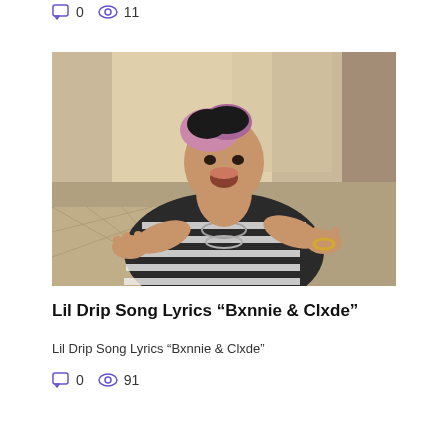0  11
[Figure (photo): Young man with pink-tipped dark hair, wearing a black and white striped long-sleeve shirt and chains, reaching hands toward camera and smiling, seated on a couch indoors.]
Lil Drip Song Lyrics “Bxnnie & Clxde”
Lil Drip Song Lyrics “Bxnnie & Clxde”
0  91